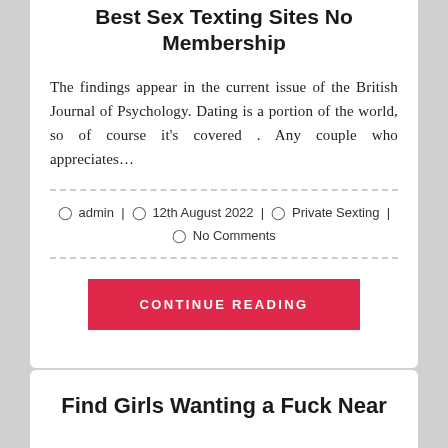Best Sex Texting Sites No Membership
The findings appear in the current issue of the British Journal of Psychology. Dating is a portion of the world, so of course it's covered . Any couple who appreciates…
admin | 12th August 2022 | Private Sexting | No Comments
CONTINUE READING
Find Girls Wanting a Fuck Near